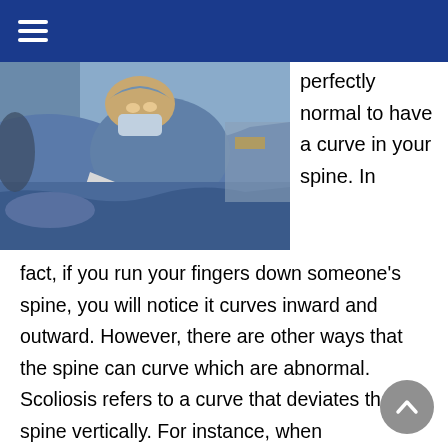[Figure (photo): A surgeon in blue scrubs and mask performing a spinal or orthopedic procedure on a patient draped in blue surgical cloth]
perfectly normal to have a curve in your spine. In fact, if you run your fingers down someone's spine, you will notice it curves inward and outward. However, there are other ways that the spine can curve which are abnormal. Scoliosis refers to a curve that deviates the spine vertically. For instance, when